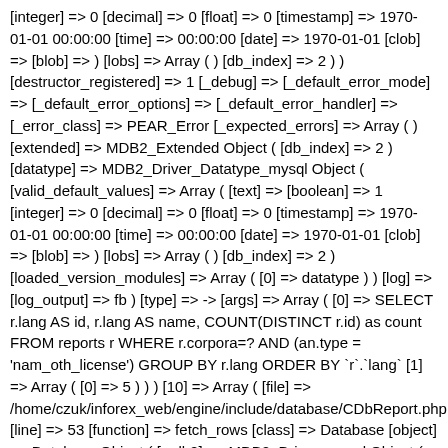[integer] => 0 [decimal] => 0 [float] => 0 [timestamp] => 1970-01-01 00:00:00 [time] => 00:00:00 [date] => 1970-01-01 [clob] => [blob] => ) [lobs] => Array ( ) [db_index] => 2 ) ) [destructor_registered] => 1 [_debug] => [_default_error_mode] => [_default_error_options] => [_default_error_handler] => [_error_class] => PEAR_Error [_expected_errors] => Array ( ) [extended] => MDB2_Extended Object ( [db_index] => 2 ) [datatype] => MDB2_Driver_Datatype_mysql Object ( [valid_default_values] => Array ( [text] => [boolean] => 1 [integer] => 0 [decimal] => 0 [float] => 0 [timestamp] => 1970-01-01 00:00:00 [time] => 00:00:00 [date] => 1970-01-01 [clob] => [blob] => ) [lobs] => Array ( ) [db_index] => 2 ) [loaded_version_modules] => Array ( [0] => datatype ) ) [log] => [log_output] => fb ) [type] => -> [args] => Array ( [0] => SELECT r.lang AS id, r.lang AS name, COUNT(DISTINCT r.id) as count FROM reports r WHERE r.corpora=? AND (an.type = 'nam_oth_license') GROUP BY r.lang ORDER BY `r`.`lang` [1] => Array ( [0] => 5 ) ) ) [10] => Array ( [file] => /home/czuk/inforex_web/engine/include/database/CDbReport.php [line] => 53 [function] => fetch_rows [class] => Database [object] => Database Object ( [mdb2] => MDB2_Driver_mysql Object ( [string_quoting] => Array ( [start] => ' [end] => ' [escape] => \ [escape_pattern] => \ ) [identifier_quoting] => Array ( [start] => ` [end] => ` [escape] => ` ) [sql_comments] => Array ( [0] => Array ( [start] => -- [end] => [escape] => ) [1] => Array ( [start] => #